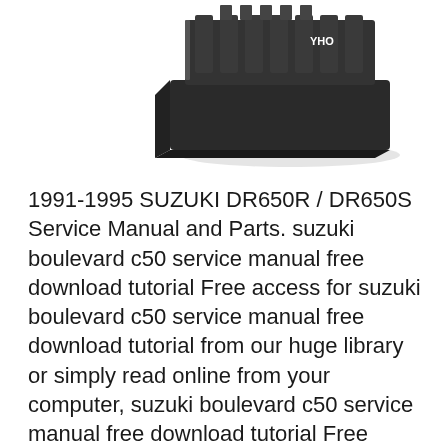[Figure (photo): A dark gray/black rectangular electronic component (likely a voltage regulator or rectifier unit) with fins and connectors on top, photographed against a white background. Partial text 'YHO' visible on top.]
1991-1995 SUZUKI DR650R / DR650S Service Manual and Parts. suzuki boulevard c50 service manual free download tutorial Free access for suzuki boulevard c50 service manual free download tutorial from our huge library or simply read online from your computer, suzuki boulevard c50 service manual free download tutorial Free access for suzuki boulevard c50 service manual free download tutorial from our huge library or simply read online from